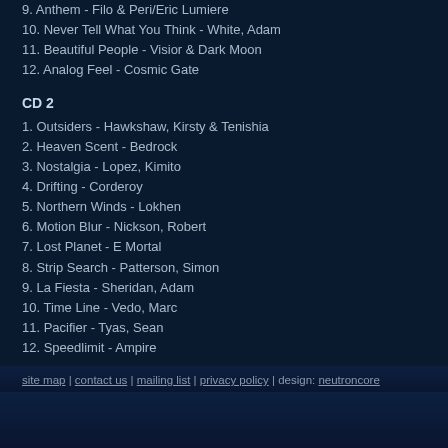9. Anthem - Filo & Peri/Eric Lumiere
10. Never Tell What You Think - White, Adam
11. Beautiful People - Visior & Dark Moon
12. Analog Feel - Cosmic Gate
CD 2
1. Outsiders - Hawkshaw, Kirsty & Tenishia
2. Heaven Scent - Bedrock
3. Nostalgia - Lopez, Kimito
4. Drifting - Corderoy
5. Northern Winds - Lokhen
6. Motion Blur - Nickson, Robert
7. Lost Planet - E Mortal
8. Strip Search - Patterson, Simon
9. La Fiesta - Sheridan, Adam
10. Time Line - Vedo, Marc
11. Pacifier - Tyas, Sean
12. Speedlimit - Ampire
site map | contact us | mailing list | privacy policy | design: neutroncore